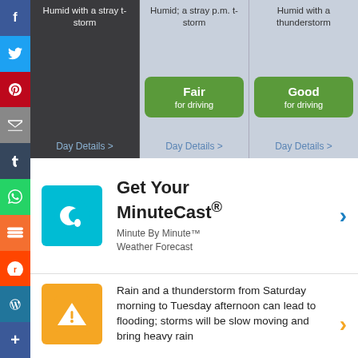[Figure (screenshot): Weather forecast strip showing three day columns: first dark column with 'Humid with a stray t-storm', second light column with 'Humid; a stray p.m. t-storm' and 'Fair for driving' green badge, third light column with 'Humid with a thunderstorm' and 'Good for driving' green badge. Each column has 'Day Details >' link at bottom.]
[Figure (infographic): MinuteCast promotion block with teal icon showing crescent/water drop logo, heading 'Get Your MinuteCast®', subtext 'Minute By Minute™ Weather Forecast', blue right arrow chevron.]
Rain and a thunderstorm from Saturday morning to Tuesday afternoon can lead to flooding; storms will be slow moving and bring heavy rain